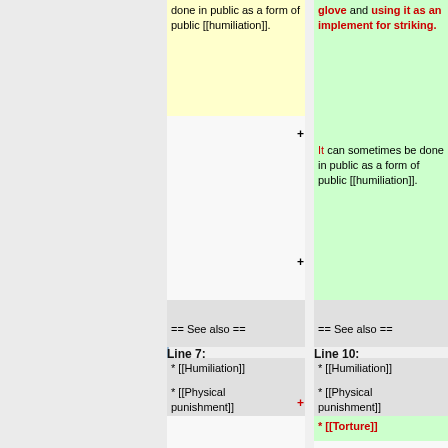done in public as a form of public [[humiliation]].
glove and using it as an implement for striking. It can sometimes be done in public as a form of public [[humiliation]].
Line 7:
Line 10:
== See also ==
== See also ==
* [[Humiliation]]
* [[Humiliation]]
* [[Physical punishment]]
* [[Physical punishment]]
+ * [[Torture]]
{{Kinkipedia|Face_slapping}}
{{Kinkipedia|Face_slapping}}
[[Category:Punishment]]
[[Category:Punishment]]